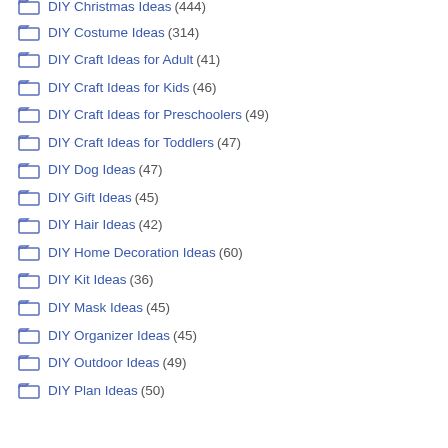DIY Christmas Ideas (444)
DIY Costume Ideas (314)
DIY Craft Ideas for Adult (41)
DIY Craft Ideas for Kids (46)
DIY Craft Ideas for Preschoolers (49)
DIY Craft Ideas for Toddlers (47)
DIY Dog Ideas (47)
DIY Gift Ideas (45)
DIY Hair Ideas (42)
DIY Home Decoration Ideas (60)
DIY Kit Ideas (36)
DIY Mask Ideas (45)
DIY Organizer Ideas (45)
DIY Outdoor Ideas (49)
DIY Plan Ideas (50)